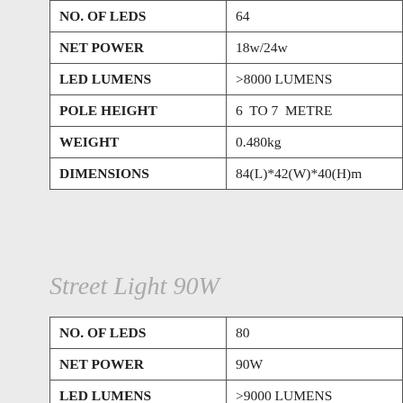| Property | Value |
| --- | --- |
| NO. OF LEDS | 64 |
| NET POWER | 18w/24w |
| LED LUMENS | >8000 LUMENS |
| POLE HEIGHT | 6  TO 7  METRE |
| WEIGHT | 0.480kg |
| DIMENSIONS | 84(L)*42(W)*40(H)m |
Street Light 90W
| Property | Value |
| --- | --- |
| NO. OF LEDS | 80 |
| NET POWER | 90W |
| LED LUMENS | >9000 LUMENS |